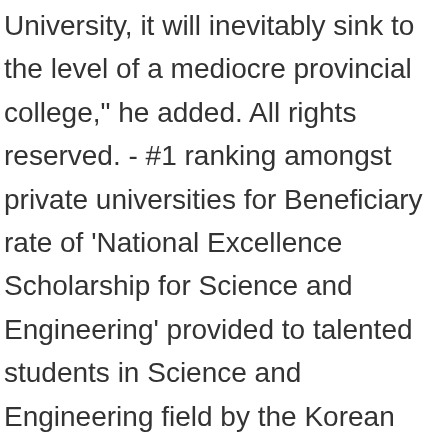University, it will inevitably sink to the level of a mediocre provincial college," he added. All rights reserved. - #1 ranking amongst private universities for Beneficiary rate of 'National Excellence Scholarship for Science and Engineering' provided to talented students in Science and Engineering field by the Korean government (2016) Jei Yanggyu, a professor at Handong University, voiced such concerns on the university's internal website on Dec. 23. Discover the top 10 universities in Asia for social sciences &... Use at least 6 characters and one numeral, Ezra and 3 others shortlisted this university. For more in-depth information about QS Stars, please. you're a Student or an Higher Education Professional. HGU ranked 2nd among 149 universities each with more than 5,000 students and the lowest dropout rate among the universities located in regions